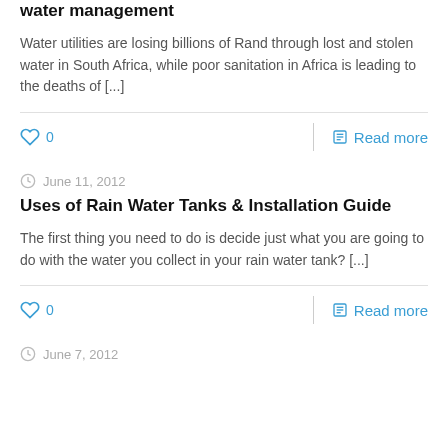water management
Water utilities are losing billions of Rand through lost and stolen water in South Africa, while poor sanitation in Africa is leading to the deaths of [...]
♡ 0   Read more
June 11, 2012
Uses of Rain Water Tanks & Installation Guide
The first thing you need to do is decide just what you are going to do with the water you collect in your rain water tank? [...]
♡ 0   Read more
June 7, 2012